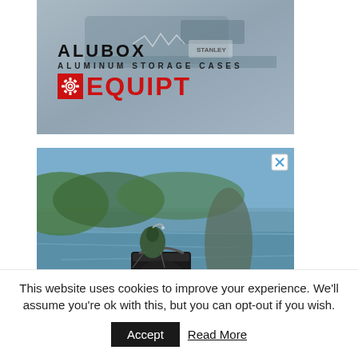[Figure (illustration): Advertisement for ALUBOX Aluminum Storage Cases by EQUIPT. Dark header text 'ALUBOX' in large bold uppercase letters, below it 'ALUMINUM STORAGE CASES' in smaller uppercase letters, and below that the EQUIPT brand logo in red with a gear/sprocket icon on the left. Background is a photo of truck/vehicle storage area in grey tones.]
[Figure (photo): Advertisement photo showing a fishing scene: a bucket (appears to be YORE DESC branded) with fishing lures/bait attached to it, set against a water background with green vegetation. An orange fishing line is visible. A blue X close button is in the top right corner of the ad.]
This website uses cookies to improve your experience. We'll assume you're ok with this, but you can opt-out if you wish.
Accept  Read More